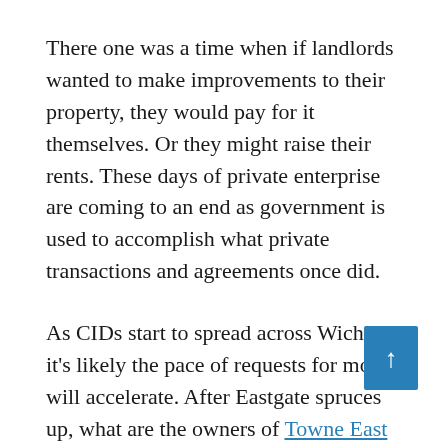There one was a time when if landlords wanted to make improvements to their property, they would pay for it themselves. Or they might raise their rents. These days of private enterprise are coming to an end as government is used to accomplish what private transactions and agreements once did.
As CIDs start to spread across Wichita, it's likely the pace of requests for more will accelerate. After Eastgate spruces up, what are the owners of Towne East Square, located catty-corner, to do? Why wouldn't they want their own CID too? And so it goes, on and on, until most of our major shopping districts are